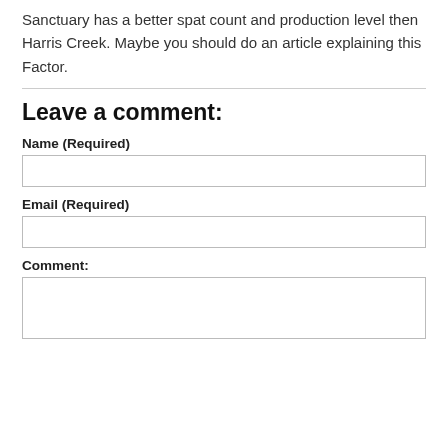Sanctuary has a better spat count and production level then Harris Creek. Maybe you should do an article explaining this Factor.
Leave a comment:
Name (Required)
Email (Required)
Comment: